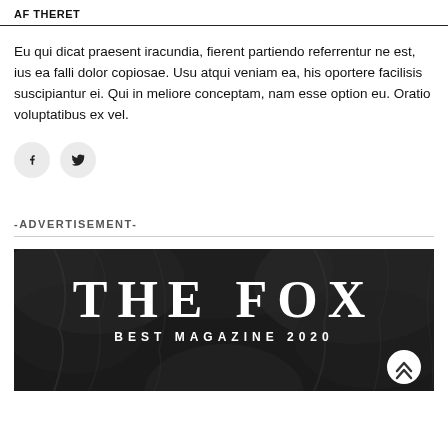AF THERET
Eu qui dicat praesent iracundia, fierent partiendo referrentur ne est, ius ea falli dolor copiosae. Usu atqui veniam ea, his oportere facilisis suscipiantur ei. Qui in meliore conceptam, nam esse option eu. Oratio voluptatibus ex vel.
[Figure (infographic): Social media share buttons: Facebook (f) and Twitter (bird) icons in circular grey buttons]
-ADVERTISEMENT-
[Figure (photo): Black and white photograph of a person with curly hair, overlaid with bold white serif text reading 'THE FOX' and below it 'BEST MAGAZINE 2020'. A white circular scroll-up button with chevron arrows is in the bottom-right corner.]